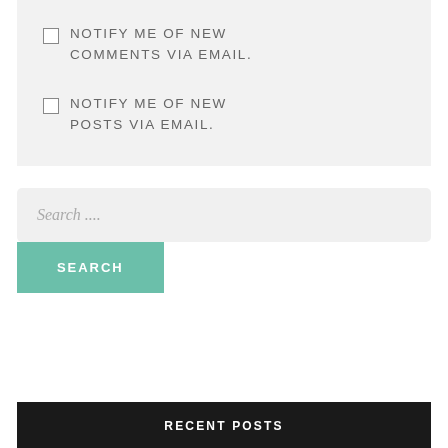NOTIFY ME OF NEW COMMENTS VIA EMAIL.
NOTIFY ME OF NEW POSTS VIA EMAIL.
Search ....
SEARCH
RECENT POSTS